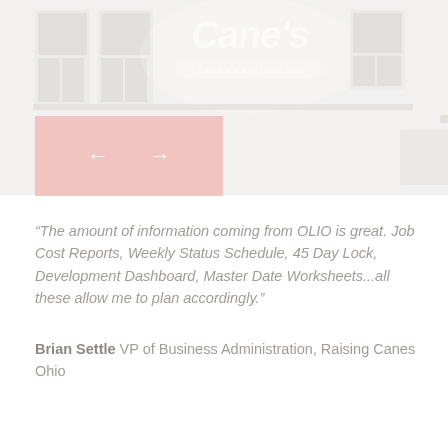[Figure (photo): Faded/washed-out photo of a Raising Cane's Chicken Fingers restaurant storefront with white script logo visible at top center. The image appears desaturated and very light.]
"The amount of information coming from OLIO is great. Job Cost Reports, Weekly Status Schedule, 45 Day Lock, Development Dashboard, Master Date Worksheets...all these allow me to plan accordingly."
Brian Settle VP of Business Administration, Raising Canes Ohio